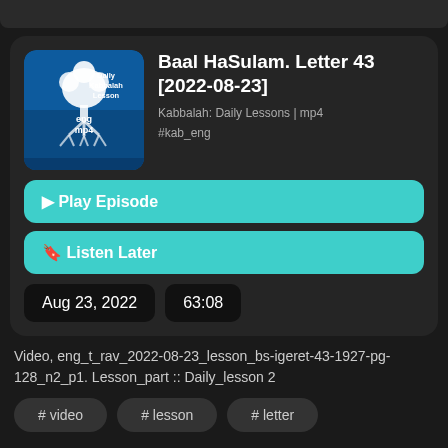Baal HaSulam. Letter 43 [2022-08-23]
Kabbalah: Daily Lessons | mp4
#kab_eng
Play Episode
Listen Later
Aug 23, 2022
63:08
Video, eng_t_rav_2022-08-23_lesson_bs-igeret-43-1927-pg-128_n2_p1. Lesson_part :: Daily_lesson 2
# video
# lesson
# letter